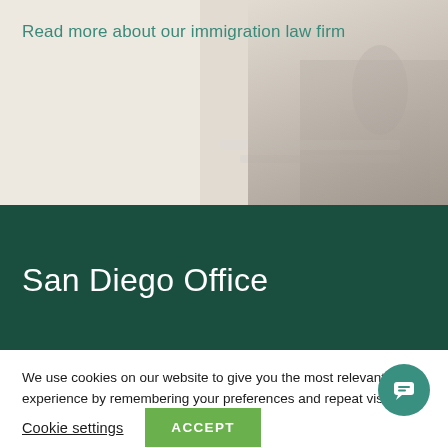Read more about our immigration law firm
San Diego Office
We use cookies on our website to give you the most relevant experience by remembering your preferences and repeat visits. By clicking “Accept”, you consent to the use of ALL the cookies.
Cookie settings
ACCEPT